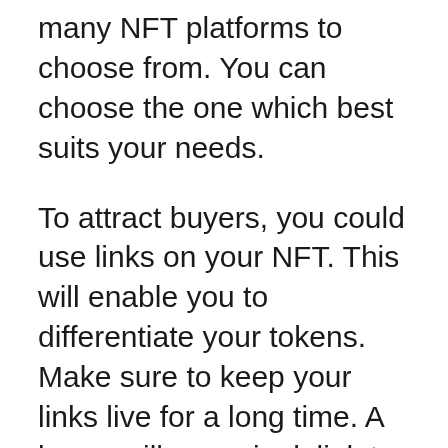many NFT platforms to choose from. You can choose the one which best suits your needs.
To attract buyers, you could use links on your NFT. This will enable you to differentiate your tokens. Make sure to keep your links live for a long time. A buyer will use a junk link to decrease the token's worth. Make sure to make a track of high-quality when making an NFT. Then, determine a fair market price. NFTs are a great way to start selling your music.
Tokenising your music means that you can sell it to people without the need to have a physical copy. The music itself is not a physical asset, so you can earn more money by selling it to different people. You don't